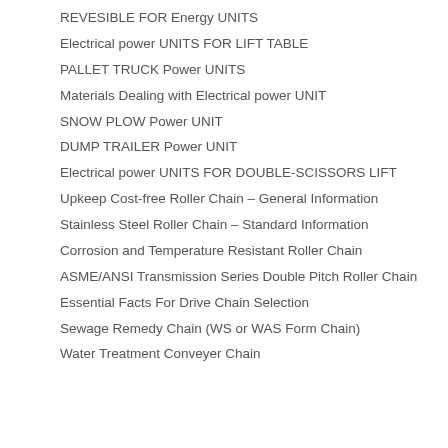REVESIBLE FOR Energy UNITS
Electrical power UNITS FOR LIFT TABLE
PALLET TRUCK Power UNITS
Materials Dealing with Electrical power UNIT
SNOW PLOW Power UNIT
DUMP TRAILER Power UNIT
Electrical power UNITS FOR DOUBLE-SCISSORS LIFT
Upkeep Cost-free Roller Chain – General Information
Stainless Steel Roller Chain – Standard Information
Corrosion and Temperature Resistant Roller Chain
ASME/ANSI Transmission Series Double Pitch Roller Chain
Essential Facts For Drive Chain Selection
Sewage Remedy Chain (WS or WAS Form Chain)
Water Treatment Conveyer Chain